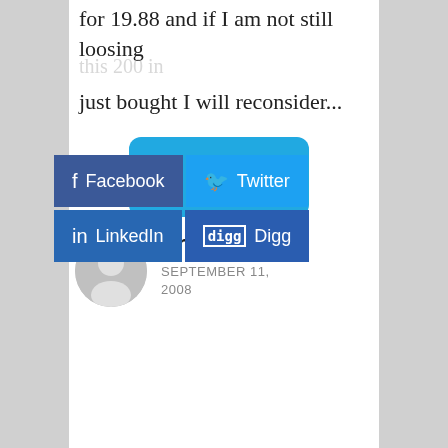for 19.88 and if I am not still loosing
[Figure (screenshot): Social sharing buttons: Facebook, Twitter, LinkedIn, Digg overlaid on page content]
just bought I will reconsider...
[Figure (other): Post a Reply button, cyan/blue rounded rectangle]
Brian
SEPTEMBER 11, 2008